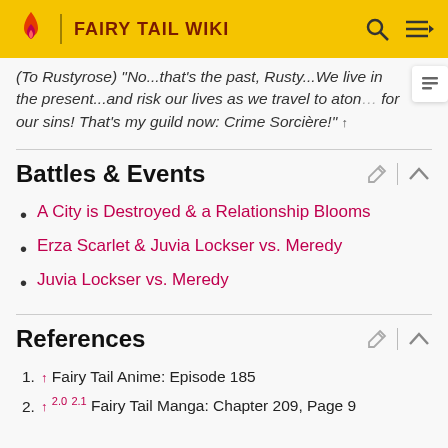FAIRY TAIL WIKI
(To Rustyrose) "No...that's the past, Rusty...We live in the present...and risk our lives as we travel to atone for our sins! That's my guild now: Crime Sorcière!" ↑
Battles & Events
A City is Destroyed & a Relationship Blooms
Erza Scarlet & Juvia Lockser vs. Meredy
Juvia Lockser vs. Meredy
References
1. ↑ Fairy Tail Anime: Episode 185
2. ↑ 2.0 2.1 Fairy Tail Manga: Chapter 209, Page 9